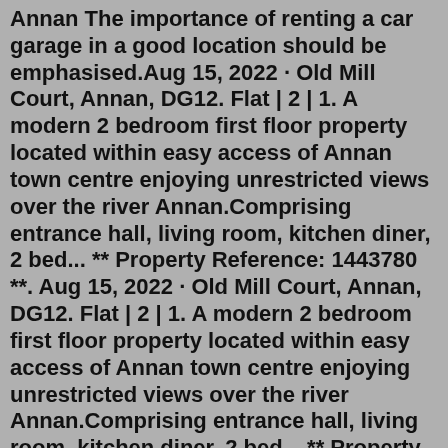Annan The importance of renting a car garage in a good location should be emphasised.Aug 15, 2022 · Old Mill Court, Annan, DG12. Flat | 2 | 1. A modern 2 bedroom first floor property located within easy access of Annan town centre enjoying unrestricted views over the river Annan.Comprising entrance hall, living room, kitchen diner, 2 bed... ** Property Reference: 1443780 **. Aug 15, 2022 · Old Mill Court, Annan, DG12. Flat | 2 | 1. A modern 2 bedroom first floor property located within easy access of Annan town centre enjoying unrestricted views over the river Annan.Comprising entrance hall, living room, kitchen diner, 2 bed... ** Property Reference: 1443780 **. Single Rooms for rent in Annan flat and house shares. Find 1000s of room to let in Annan, Dumfriesshire and across the UK at SpareRoom.co.uk - the UK's #1 flatshare site 3 bed flat to rent. Hillview Crescent (No. 3E), Annan DG12. Available immediately. • 3 bedroom, 2nd floor flat located in the town of Annan • Heating: Gas • Weekly rent: £84.59 + £2.56 service charge per week • EPC Rating: C. Annan (0.7